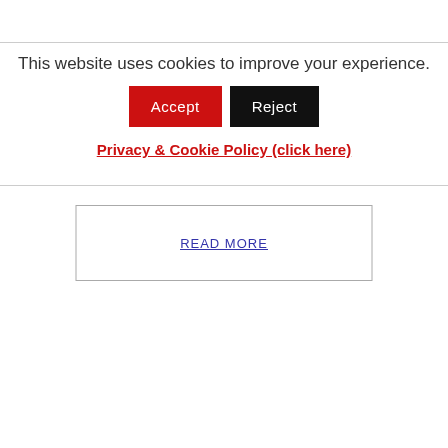This website uses cookies to improve your experience.
Accept
Reject
Privacy & Cookie Policy (click here)
READ MORE